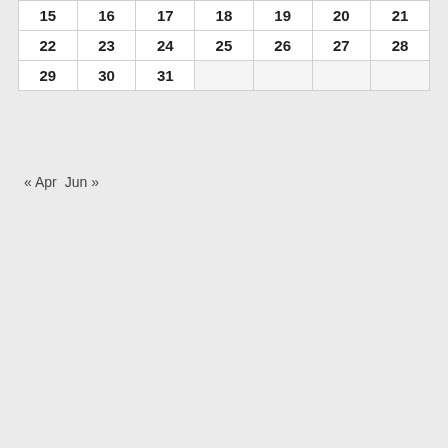| 15 | 16 | 17 | 18 | 19 | 20 | 21 |
| 22 | 23 | 24 | 25 | 26 | 27 | 28 |
| 29 | 30 | 31 |  |  |  |  |
« Apr   Jun »